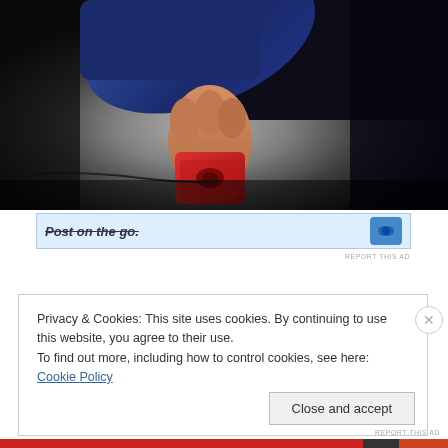[Figure (photo): Person holding a small red bag/packet near a cracked concrete floor, wearing dark clothing with blue fabric visible at top. Dark, dimly lit scene.]
Post on the go.
REPORT THIS AD
Privacy & Cookies: This site uses cookies. By continuing to use this website, you agree to their use.
To find out more, including how to control cookies, see here: Cookie Policy
Close and accept
REPORT THIS AD